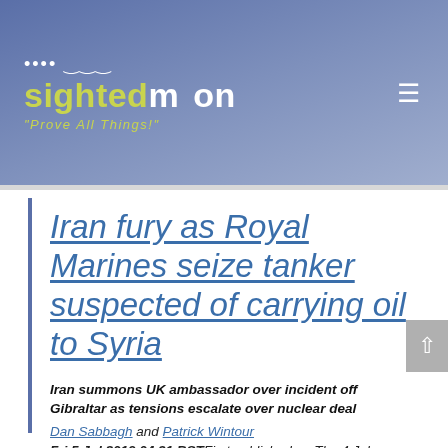sightedmoon "Prove All Things!"
Iran fury as Royal Marines seize tanker suspected of carrying oil to Syria
Iran summons UK ambassador over incident off Gibraltar as tensions escalate over nuclear deal
Dan Sabbagh and Patrick Wintour
Fri 5 Jul 2019 04.31 BSTFirst published on Thu 4 Jul 2019 09.01 BST